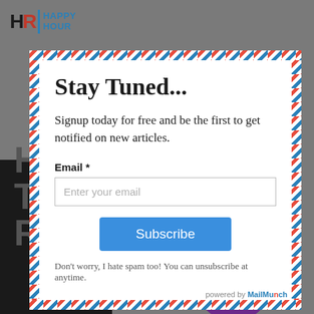[Figure (screenshot): HR Happy Hour logo in top-left of background webpage]
Stay Tuned...
Signup today for free and be the first to get notified on new articles.
Email *
Enter your email
Subscribe
Don't worry, I hate spam too! You can unsubscribe at anytime.
powered by MailMunch